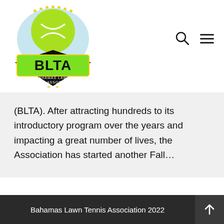[Figure (logo): BLTA - Bahamas Lawn Tennis Association logo with green tennis ball and black diamond shield]
(BLTA). After attracting hundreds to its introductory program over the years and impacting a great number of lives, the Association has started another Fall…
Bahamas Lawn Tennis Association 2022